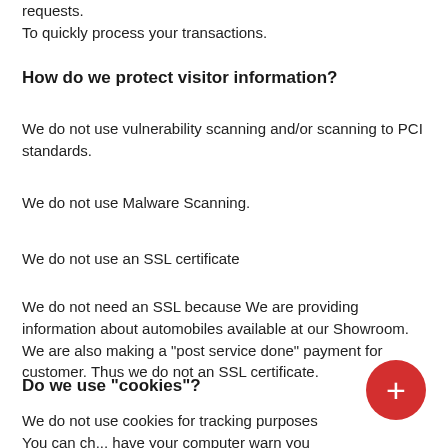requests.
To quickly process your transactions.
How do we protect visitor information?
We do not use vulnerability scanning and/or scanning to PCI standards.
We do not use Malware Scanning.
We do not use an SSL certificate
We do not need an SSL because We are providing information about automobiles available at our Showroom. We are also making a "post service done" payment for customer. Thus we do not an SSL certificate.
Do we use "cookies"?
We do not use cookies for tracking purposes You can ch... have your computer warn you each time a cookie is being sent, or you can choose to turn off all cookies. You do this through your